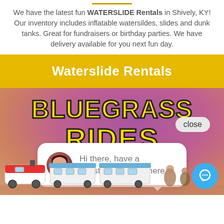We have the latest fun WATERSLIDE Rentals in Shively, KY! Our inventory includes inflatable watersildes, slides and dunk tanks. Great for fundraisers or birthday parties. We have delivery available for you next fun day.
Waterslide Rentals
[Figure (photo): Photo of Bluegrass Rides attraction with a train, overlaid with a chat popup saying 'Hi there, have a question? Text us here.' and a close button. The background is a purple-pink gradient with 'BLUEGRASS RIDES' in large yellow text.]